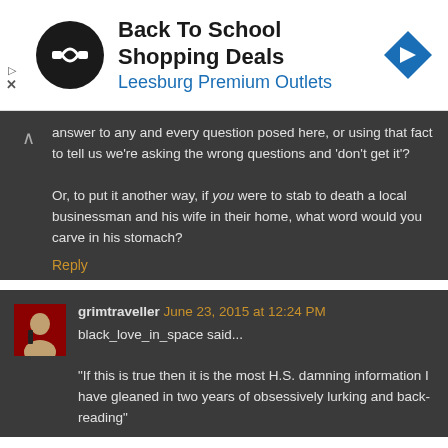[Figure (other): Advertisement banner for Back To School Shopping Deals at Leesburg Premium Outlets with logo and arrow icon]
answer to any and every question posed here, or using that fact to tell us we're asking the wrong questions and 'don't get it'?
Or, to put it another way, if you were to stab to death a local businessman and his wife in their home, what word would you carve in his stomach?
Reply
grimtraveller June 23, 2015 at 12:24 PM
black_love_in_space said...
"If this is true then it is the most H.S. damning information I have gleaned in two years of obsessively lurking and back-reading"